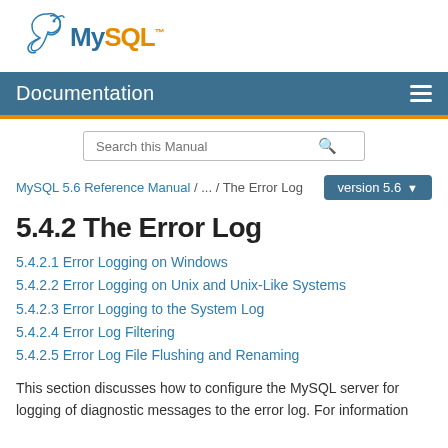[Figure (logo): MySQL logo with dolphin icon — 'My' in dark blue, 'SQL' in orange, dolphin SVG above]
Documentation
Search this Manual
MySQL 5.6 Reference Manual / ... / The Error Log   version 5.6
5.4.2 The Error Log
5.4.2.1 Error Logging on Windows
5.4.2.2 Error Logging on Unix and Unix-Like Systems
5.4.2.3 Error Logging to the System Log
5.4.2.4 Error Log Filtering
5.4.2.5 Error Log File Flushing and Renaming
This section discusses how to configure the MySQL server for logging of diagnostic messages to the error log. For information